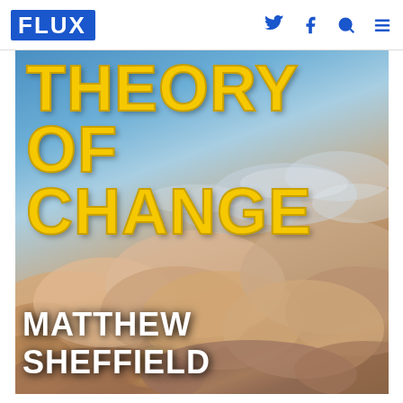FLUX — navigation header with Twitter, Facebook, Search, and Menu icons
[Figure (illustration): Book cover for 'Theory of Change' by Matthew Sheffield. Features large bold yellow text reading 'THEORY OF CHANGE' over a dramatic cloudscape sky background with warm orange and blue tones. Author name 'MATTHEW SHEFFIELD' appears in large white bold text at the bottom.]